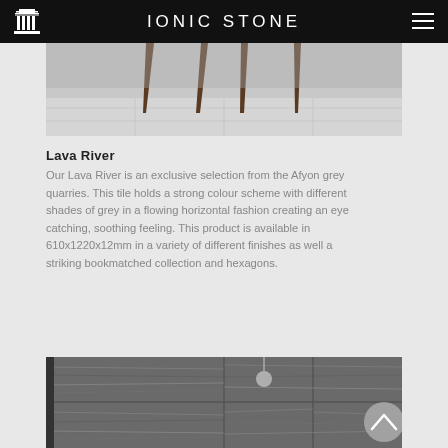IONIC STONE
[Figure (photo): Top portion of a room interior showing table legs and a light grey stone floor tile]
Lava River
Our Lava River is an exclusive selection from the Afyon grey quarries. This tile holds a strong colour scheme with different shades of grey in a flowing horizontal fashion creating an eye catching, soothing feeling. This product is available in 610x1220x12mm in a variety of different finishes as well a striking bookmatched collection and hexagons.
[Figure (photo): Bathroom wall tiled with large dark grey stone tiles with horizontal veining pattern, shower head visible]